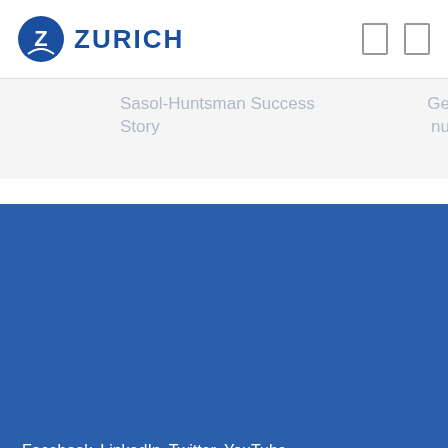[Figure (logo): Zurich Insurance logo with blue circle containing letter Z and ZURICH text]
Sasol-Huntsman Success Story
Ge nu
Facebook  LinkedIn  Twitter  YouTube
Legal   Privacy   About   Contact us   © 2022 Zurich New Zealand
We are a member of the Insurance Council of NZ and adhere to the Fair Insurance Code, which provides you with assurance that the we have high standards of service to our customers.